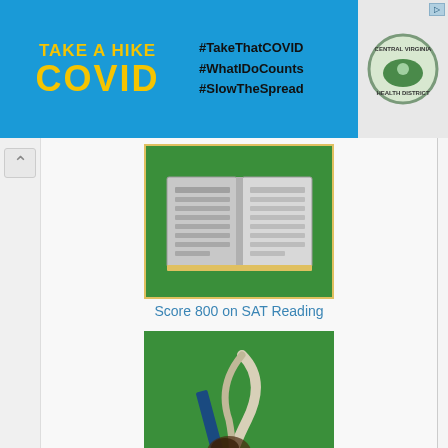[Figure (infographic): Take a Hike COVID banner advertisement with blue background, yellow text reading TAKE A HIKE COVID, hashtags #TakeThatCOVID #WhatIDoCounts #SlowTheSpread, and Central Virginia Health District seal]
[Figure (illustration): Open book illustration on green background]
Score 800 on SAT Reading
[Figure (illustration): Feather quill and pen illustration on green background]
Score 800 on SAT Writing
[Figure (illustration): SAT paper, calculator, compass, and school supplies illustration]